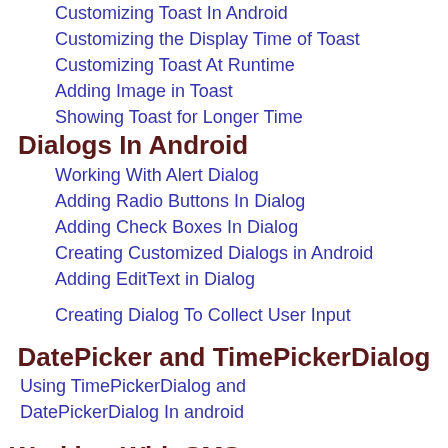Customizing Toast In Android
Customizing the Display Time of Toast
Customizing Toast At Runtime
Adding Image in Toast
Showing Toast for Longer Time
Dialogs In Android
Working With Alert Dialog
Adding Radio Buttons In Dialog
Adding Check Boxes In Dialog
Creating Customized Dialogs in Android
Adding EditText in Dialog
Creating Dialog To Collect User Input
DatePicker and TimePickerDialog
Using TimePickerDialog and DatePickerDialog In android
Working With SMS
How to Send SMS in Android
How To Receive SMS
Associating In Android